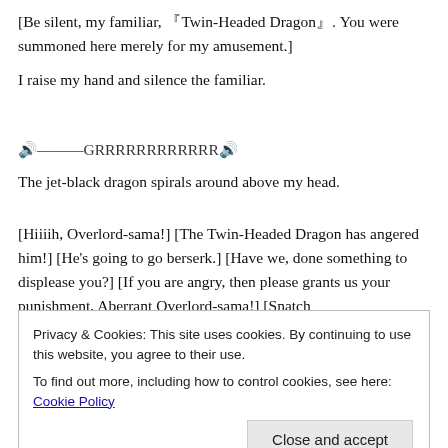[Be silent, my familiar, 『Twin-Headed Dragon』. You were summoned here merely for my amusement.]
I raise my hand and silence the familiar.
🔊——GRRRRRRRRRRRR🔊
The jet-black dragon spirals around above my head.
[Hiiiih, Overlord-sama!] [The Twin-Headed Dragon has angered him!] [He's going to go berserk.] [Have we, done something to displease you?] [If you are angry, then please grants us your punishment, Aberrant Overlord-sama!] [Snatch
it isn't about. It's because I informed them in advanced that,
Privacy & Cookies: This site uses cookies. By continuing to use this website, you agree to their use. To find out more, including how to control cookies, see here: Cookie Policy
Close and accept